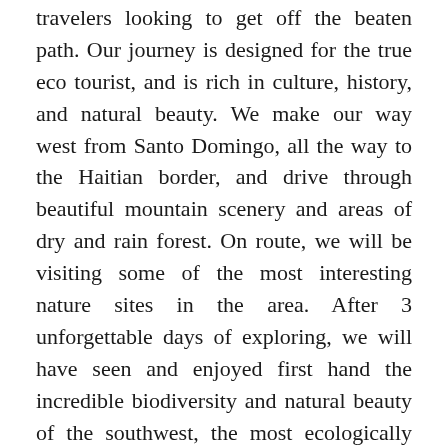travelers looking to get off the beaten path. Our journey is designed for the true eco tourist, and is rich in culture, history, and natural beauty. We make our way west from Santo Domingo, all the way to the Haitian border, and drive through beautiful mountain scenery and areas of dry and rain forest. On route, we will be visiting some of the most interesting nature sites in the area. After 3 unforgettable days of exploring, we will have seen and enjoyed first hand the incredible biodiversity and natural beauty of the southwest, the most ecologically diverse region in the entire Caribbean.
Package: The Southwest: Our Biosphere Preserve Tour (*2 guest minimum)
Duration of trip: 3 days, 2 nights